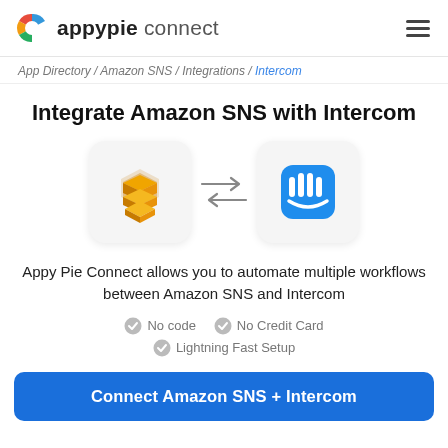appypie connect
App Directory / Amazon SNS / Integrations / Intercom
Integrate Amazon SNS with Intercom
[Figure (illustration): Amazon SNS logo icon (gold stacked layers) on left with a rounded square white background, bidirectional arrows (right and left) in the middle, and Intercom logo icon (blue rounded square with white vertical bars and smile) on the right.]
Appy Pie Connect allows you to automate multiple workflows between Amazon SNS and Intercom
No code
No Credit Card
Lightning Fast Setup
Connect Amazon SNS + Intercom